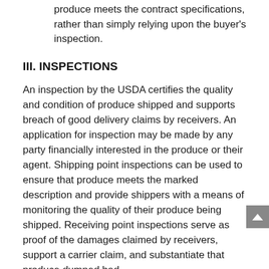produce meets the contract specifications, rather than simply relying upon the buyer's inspection.
III. INSPECTIONS
An inspection by the USDA certifies the quality and condition of produce shipped and supports breach of good delivery claims by receivers. An application for inspection may be made by any party financially interested in the produce or their agent. Shipping point inspections can be used to ensure that produce meets the marked description and provide shippers with a means of monitoring the quality of their produce being shipped. Receiving point inspections serve as proof of the damages claimed by receivers, support a carrier claim, and substantiate that produce dumped had